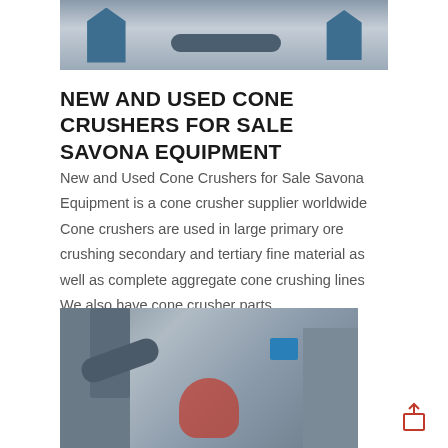[Figure (photo): Top portion of industrial machinery photo showing conveyor belts and equipment against a sky background]
NEW AND USED CONE CRUSHERS FOR SALE SAVONA EQUIPMENT
New and Used Cone Crushers for Sale Savona Equipment is a cone crusher supplier worldwide Cone crushers are used in large primary ore crushing secondary and tertiary fine material as well as complete aggregate cone crushing lines We also have cone crusher parts …
[Figure (photo): Industrial cone crusher equipment with large cylindrical structures, pipes, and a cone crusher unit visible, surrounded by industrial buildings and scaffolding]